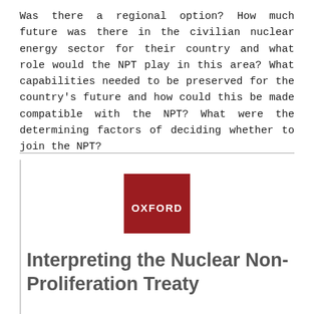Was there a regional option? How much future was there in the civilian nuclear energy sector for their country and what role would the NPT play in this area? What capabilities needed to be preserved for the country's future and how could this be made compatible with the NPT? What were the determining factors of deciding whether to join the NPT?
[Figure (logo): Oxford University Press logo — dark red square with white text reading OXFORD]
Interpreting the Nuclear Non-Proliferation Treaty